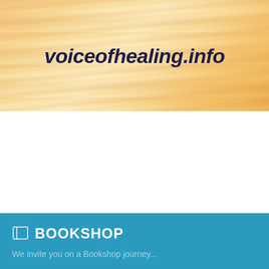[Figure (logo): voiceofhealing.info banner logo with warm yellow/orange flame-like background and dark navy bold italic text]
BOOKSHOP
We invite you on a Bookshop journey...